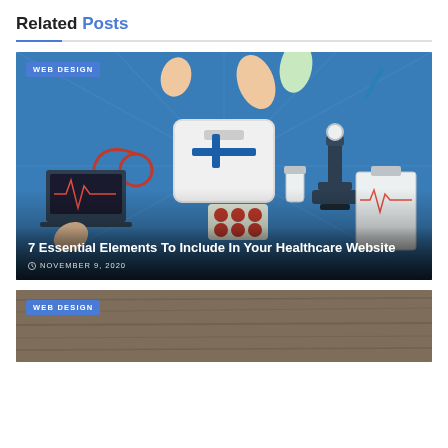Related Posts
[Figure (illustration): Medical/healthcare themed flat illustration showing a laptop with heartbeat, stethoscope, first aid kit, microscope, pills, clipboards with heart rate graphs, hands, and other medical objects on a blue background.]
7 Essential Elements To Include In Your Healthcare Website
NOVEMBER 9, 2020
[Figure (photo): Partial view of a second card with a wood-textured background, partially visible at the bottom of the page.]